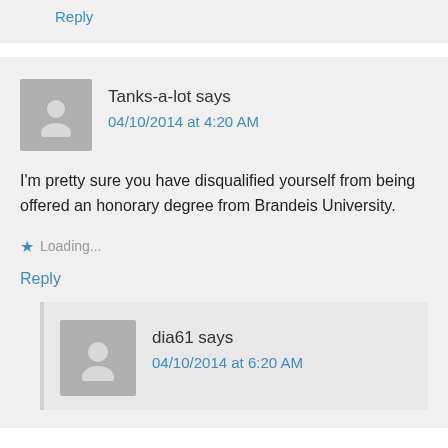Reply
Tanks-a-lot says
04/10/2014 at 4:20 AM
I'm pretty sure you have disqualified yourself from being offered an honorary degree from Brandeis University.
Loading...
Reply
dia61 says
04/10/2014 at 6:20 AM